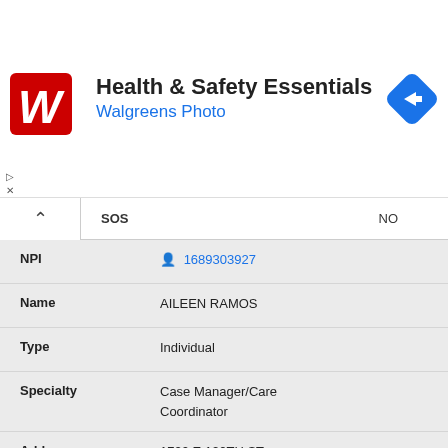[Figure (logo): Walgreens red logo with W letter]
Health & Safety Essentials
Walgreens Photo
[Figure (illustration): Blue diamond navigation/directions icon]
| Field | Value |
| --- | --- |
| NPI | 1689303927 |
| Name | AILEEN RAMOS |
| Type | Individual |
| Specialty | Case Manager/Care Coordinator |
| Address | 1720 E 120TH ST
LOS ANGELES, CA 90059
(323) 298-3680 |
| Accepts Medicare? | Non-Participating Provider |
| PECOS | NO |